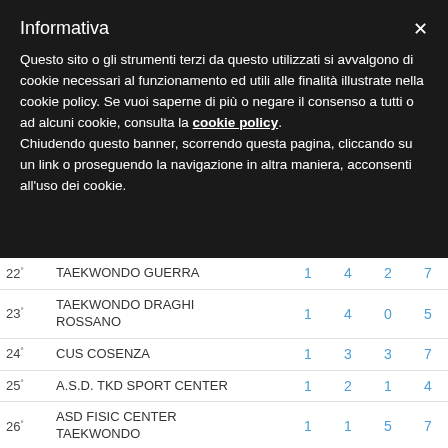Informativa
Questo sito o gli strumenti terzi da questo utilizzati si avvalgono di cookie necessari al funzionamento ed utili alle finalità illustrate nella cookie policy. Se vuoi saperne di più o negare il consenso a tutti o ad alcuni cookie, consulta la cookie policy. Chiudendo questo banner, scorrendo questa pagina, cliccando su un link o proseguendo la navigazione in altra maniera, acconsenti all'uso dei cookie.
| Pos | Team | Col1 | Col2 | Col3 | Col4 |
| --- | --- | --- | --- | --- | --- |
| 22° | TAEKWONDO GUERRA | 1 | 4 | 2 | 7 |
| 23° | TAEKWONDO DRAGHI ROSSANO | 1 | 4 | 0 | 5 |
| 24° | CUS COSENZA | 1 | 3 | 3 | 7 |
| 25° | A.S.D. TKD SPORT CENTER | 1 | 2 | 1 | 4 |
| 26° | ASD FISIC CENTER TAEKWONDO | 1 | 1 | 5 | 7 |